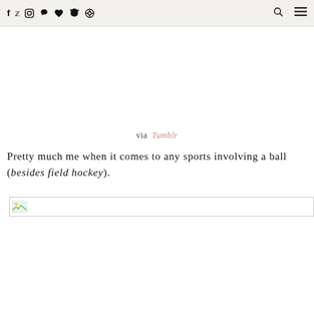f  t  instagram  pinterest  heart  snapchat  circle   [search] [menu]
via Tumblr
Pretty much me when it comes to any sports involving a ball (besides field hockey).
[Figure (photo): Broken image placeholder with small landscape icon thumbnail]